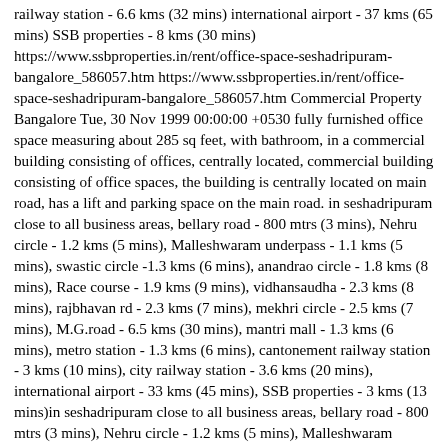railway station - 6.6 kms (32 mins) international airport - 37 kms (65 mins) SSB properties - 8 kms (30 mins) https://www.ssbproperties.in/rent/office-space-seshadripuram-bangalore_586057.htm https://www.ssbproperties.in/rent/office-space-seshadripuram-bangalore_586057.htm Commercial Property Bangalore Tue, 30 Nov 1999 00:00:00 +0530 fully furnished office space measuring about 285 sq feet, with bathroom, in a commercial building consisting of offices, centrally located, commercial building consisting of office spaces, the building is centrally located on main road, has a lift and parking space on the main road. in seshadripuram close to all business areas, bellary road - 800 mtrs (3 mins), Nehru circle - 1.2 kms (5 mins), Malleshwaram underpass - 1.1 kms (5 mins), swastic circle -1.3 kms (6 mins), anandrao circle - 1.8 kms (8 mins), Race course - 1.9 kms (9 mins), vidhansaudha - 2.3 kms (8 mins), rajbhavan rd - 2.3 kms (7 mins), mekhri circle - 2.5 kms (7 mins), M.G.road - 6.5 kms (30 mins), mantri mall - 1.3 kms (6 mins), metro station - 1.3 kms (6 mins), cantonement railway station - 3 kms (10 mins), city railway station - 3.6 kms (20 mins), international airport - 33 kms (45 mins), SSB properties - 3 kms (13 mins)in seshadripuram close to all business areas, bellary road - 800 mtrs (3 mins), Nehru circle - 1.2 kms (5 mins), Malleshwaram underpass - 1.1 kms (5 mins), swastic circle -1.3 kms (6 mins), anandrao circle - 1.8 kms (8 mins), Race course - 1.9 kms (9 mins), vidhansaudha - 2.3 kms (8 mins), rajbhavan rd - 2.3 kms (7 mins), mekhri circle - 2.5 kms (7